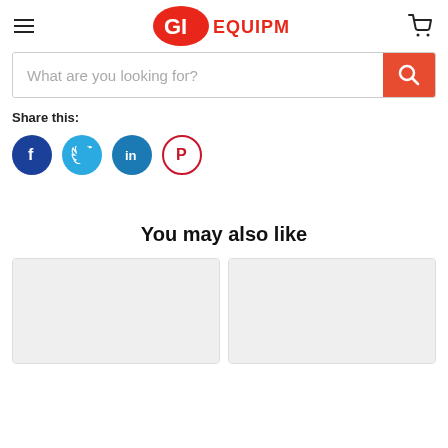GI Equipment (logo) | hamburger menu | cart icon
What are you looking for?
Share this:
[Figure (infographic): Social media share buttons: Facebook (dark blue circle), Twitter (light blue circle), LinkedIn (medium blue circle), Pinterest (white circle with red border)]
You may also like
[Figure (photo): Product card placeholder image (light gray)]
[Figure (photo): Product card placeholder image (light gray)]